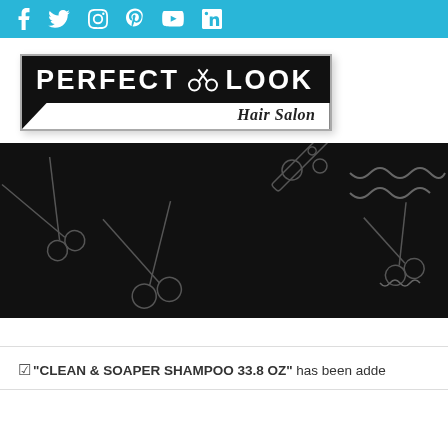Social media icons bar: Facebook, Twitter, Instagram, Pinterest, YouTube, LinkedIn
[Figure (logo): Perfect Look Hair Salon logo — black rectangle with white bold text 'PERFECT LOOK' and scissors icon, white angled bottom section with italic text 'Hair Salon']
[Figure (photo): Dark banner image with pattern of hair salon scissors, combs, and styling tools drawn in grey/white outline on black background]
"CLEAN & SOAPER SHAMPOO 33.8 OZ" has been adde